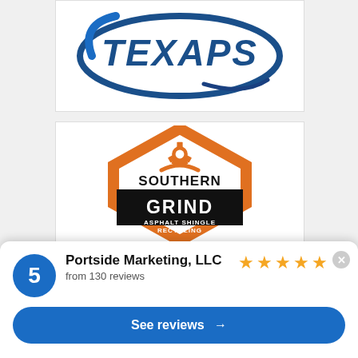[Figure (logo): TEXAPS logo - blue oval with stylized text 'TEXAPS' in blue on white background, partially cropped at top]
[Figure (logo): Southern Grind Asphalt Shingle Recycling logo - orange hexagon shape with gear icon, black band with white text 'SOUTHERN GRIND', text 'ASPHALT SHINGLE RECYCLING' below]
5
Portside Marketing, LLC
from 130 reviews
See reviews →